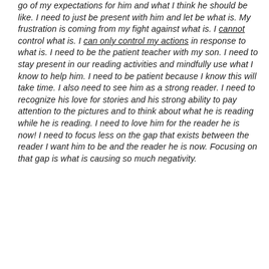go of my expectations for him and what I think he should be like. I need to just be present with him and let be what is. My frustration is coming from my fight against what is. I cannot control what is. I can only control my actions in response to what is. I need to be the patient teacher with my son. I need to stay present in our reading activities and mindfully use what I know to help him. I need to be patient because I know this will take time. I also need to see him as a strong reader. I need to recognize his love for stories and his strong ability to pay attention to the pictures and to think about what he is reading while he is reading. I need to love him for the reader he is now! I need to focus less on the gap that exists between the reader I want him to be and the reader he is now. Focusing on that gap is what is causing so much negativity.